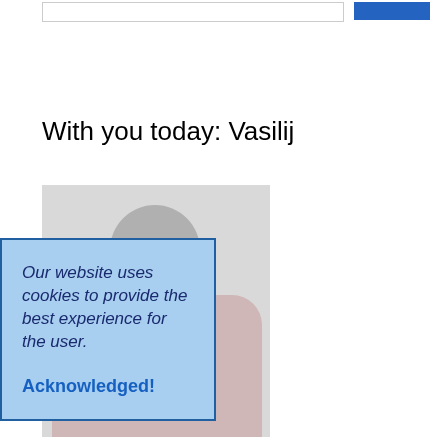[Figure (screenshot): Top bar with a search input box on the left and a blue button on the right]
With you today: Vasilij
[Figure (photo): Photo of a person (Vasilij) partially visible, showing head and upper body with a light background]
Our website uses cookies to provide the best experience for the user.

Acknowledged!